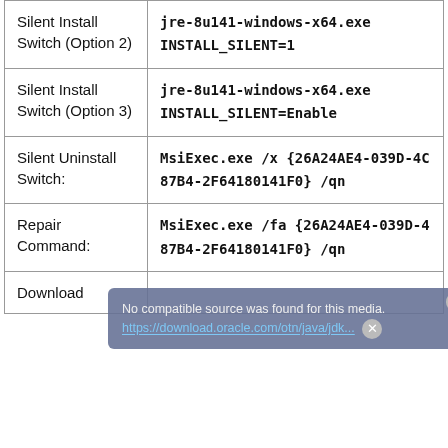|  |  |
| --- | --- |
| Silent Install Switch (Option 2) | jre-8u141-windows-x64.exe
INSTALL_SILENT=1 |
| Silent Install Switch (Option 3) | jre-8u141-windows-x64.exe
INSTALL_SILENT=Enable |
| Silent Uninstall Switch: | MsiExec.exe /x {26A24AE4-039D-4C87B4-2F64180141F0} /qn |
| Repair Command: | MsiExec.exe /fa {26A24AE4-039D-487B4-2F64180141F0} /qn |
| Download | https://download.oracle.com/otn/java/jdk... |
[Figure (screenshot): Overlay dialog: 'No compatible source was found for this media.' with a link https://download.oracle.com/otn/java/jdk... and a close button.]